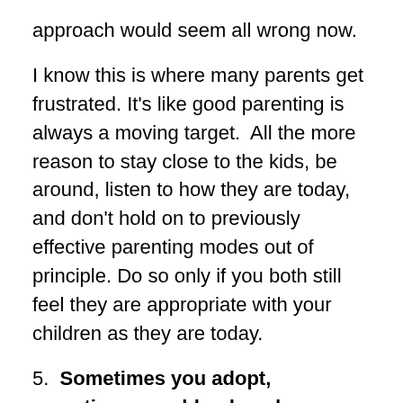approach would seem all wrong now.
I know this is where many parents get frustrated. It's like good parenting is always a moving target.  All the more reason to stay close to the kids, be around, listen to how they are today, and don't hold on to previously effective parenting modes out of principle. Do so only if you both still feel they are appropriate with your children as they are today.
5.  Sometimes you adopt, sometimes you blend, and sometimes you concoct! We adopted Sherrylee's grandparents' admonition for our teenagers: “If it is not a sin, let them do it!” We blended most areas because our parents actually gave us similar scripts so it wasn't too hard. But to deal with our children and what to do with them in cross-cultural situations, for instance, we had to